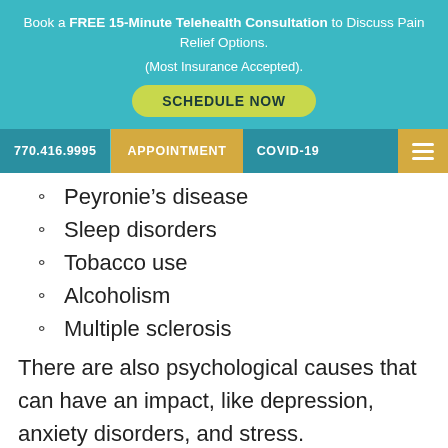Book a FREE 15-Minute Telehealth Consultation to Discuss Pain Relief Options. (Most Insurance Accepted).
SCHEDULE NOW
770.416.9995  APPOINTMENT  COVID-19
Peyronie's disease
Sleep disorders
Tobacco use
Alcoholism
Multiple sclerosis
There are also psychological causes that can have an impact, like depression, anxiety disorders, and stress. Medications, too, can be a factor in ED.